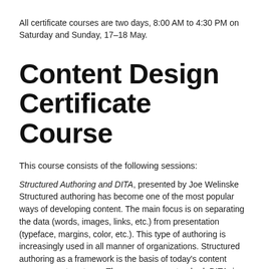All certificate courses are two days, 8:00 AM to 4:30 PM on Saturday and Sunday, 17–18 May.
Content Design Certificate Course
This course consists of the following sessions:
Structured Authoring and DITA, presented by Joe Welinske
Structured authoring has become one of the most popular ways of developing content. The main focus is on separating the data (words, images, links, etc.) from presentation (typeface, margins, color, etc.). This type of authoring is increasingly used in all manner of organizations. Structured authoring as a framework is the basis of today's content management systems. The open-source standard, DITA, is a form of structured authoring designed specifically for documentation. DITA (Darwin